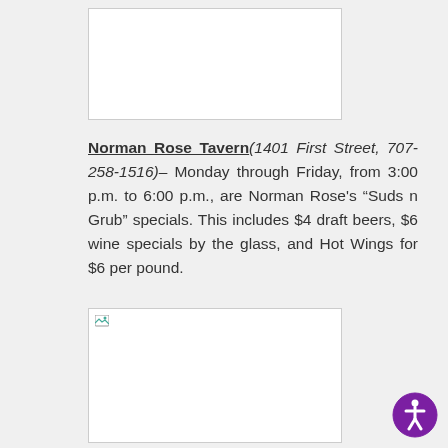[Figure (photo): Placeholder image box at top of page, white background with border]
Norman Rose Tavern(1401 First Street, 707-258-1516)– Monday through Friday, from 3:00 p.m. to 6:00 p.m., are Norman Rose's “Suds n Grub” specials. This includes $4 draft beers, $6 wine specials by the glass, and Hot Wings for $6 per pound.
[Figure (photo): Placeholder image box at bottom of page, white background with border, small broken image icon in top-left]